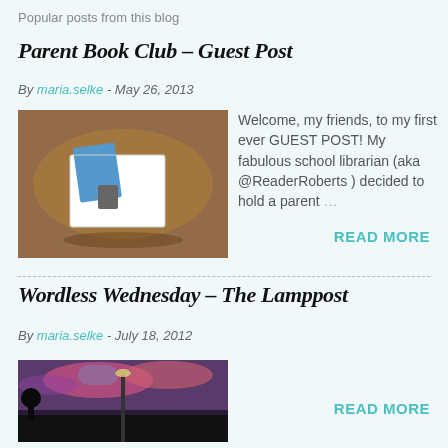Popular posts from this blog
Parent Book Club - Guest Post
By maria.selke - May 26, 2013
[Figure (photo): Photo of a book or card on a wooden table with a blue bookmark/card visible]
Welcome, my friends, to my first ever GUEST POST! My fabulous school librarian (aka @ReaderRoberts ) decided to hold a parent …
READ MORE
Wordless Wednesday - The Lamppost
By maria.selke - July 18, 2012
[Figure (photo): Photo of a lamppost at dusk with purple and pink sky]
READ MORE